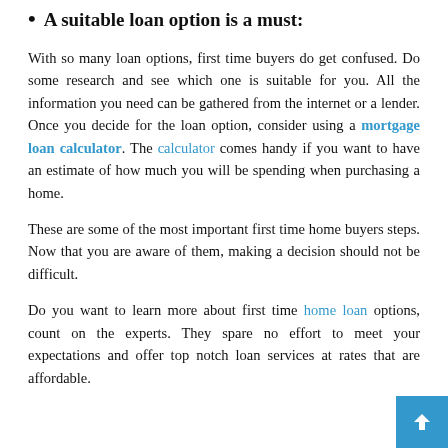A suitable loan option is a must:
With so many loan options, first time buyers do get confused. Do some research and see which one is suitable for you. All the information you need can be gathered from the internet or a lender. Once you decide for the loan option, consider using a mortgage loan calculator. The calculator comes handy if you want to have an estimate of how much you will be spending when purchasing a home.
These are some of the most important first time home buyers steps. Now that you are aware of them, making a decision should not be difficult.
Do you want to learn more about first time home loan options, count on the experts. They spare no effort to meet your expectations and offer top notch loan services at rates that are affordable.